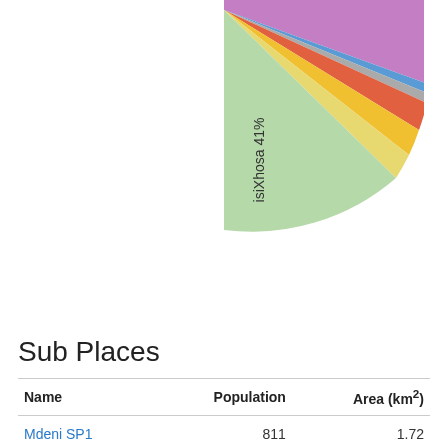[Figure (pie-chart): Language distribution]
Show table
Sub Places
| Name | Population | Area (km²) |
| --- | --- | --- |
| Mdeni SP1 | 811 | 1.72 |